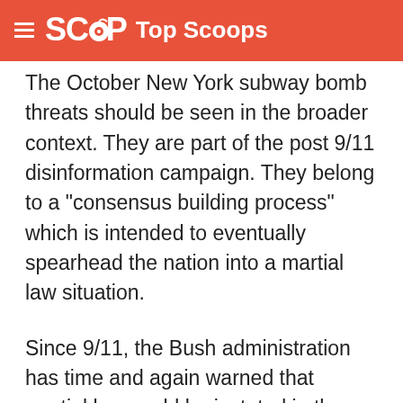SCOOP Top Scoops
The October New York subway bomb threats should be seen in the broader context. They are part of the post 9/11 disinformation campaign. They belong to a "consensus building process" which is intended to eventually spearhead the nation into a martial law situation.
Since 9/11, the Bush administration has time and again warned that martial law could be instated in the case of a terrorist attack on the Homeland, in which US Northern Command (NorthCom) would intervene.
More recently President Bush has hinted at the height of Hurricane Rita, that the military could also become